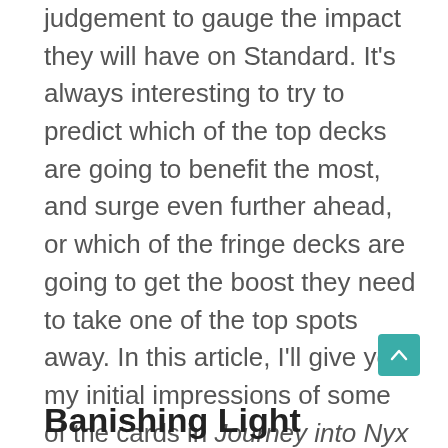judgement to gauge the impact they will have on Standard. It's always interesting to try to predict which of the top decks are going to benefit the most, and surge even further ahead, or which of the fringe decks are going to get the boost they need to take one of the top spots away. In this article, I'll give you my initial impressions of some of the cards in Journey into Nyx and my predictions for how some of Standard's current staples will be affected.
Banishing Light